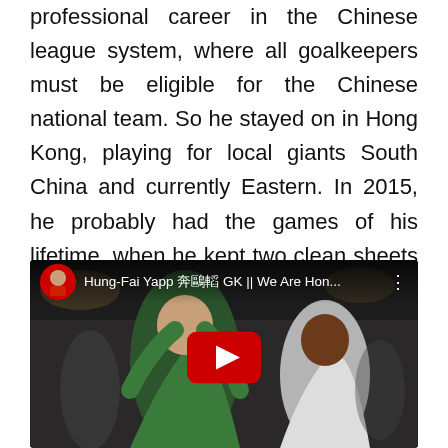professional career in the Chinese league system, where all goalkeepers must be eligible for the Chinese national team. So he stayed on in Hong Kong, playing for local giants South China and currently Eastern. In 2015, he probably had the games of his lifetime, when he kept two clean sheets against China within three months, which earned him permanent legend status.
[Figure (screenshot): YouTube video thumbnail showing Hung-Fai Yapp GK in a green goalkeeper jersey with arms raised, alongside another player in white. Video title reads: Hung-Fai Yapp 葉鴻輝 GK || We Are Hon...]